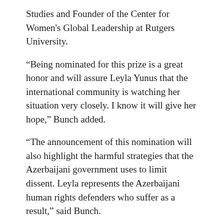Studies and Founder of the Center for Women's Global Leadership at Rutgers University.
“Being nominated for this prize is a great honor and will assure Leyla Yunus that the international community is watching her situation very closely. I know it will give her hope,” Bunch added.
“The announcement of this nomination will also highlight the harmful strategies that the Azerbaijani government uses to limit dissent. Leyla represents the Azerbaijani human rights defenders who suffer as a result,” said Bunch.
The Women Human Rights Defenders International Coalition calls on the Azerbaijan authorities to immediately free Dr Yunus, her husband Arif Yunus, and all our following imprisoned political prisoners